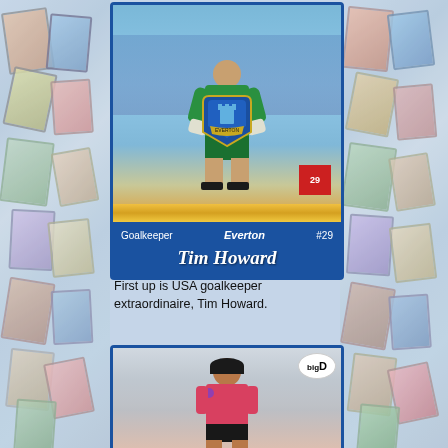[Figure (photo): Trading card of Tim Howard, goalkeeper for Everton #29, showing him in green goalkeeper kit running on pitch. Card has blue border, gold stripe, Everton crest, and cursive name plate.]
First up is USA goalkeeper extraordinaire, Tim Howard.
[Figure (photo): Second trading card showing a player in pink/red kit, with 'big D' logo in upper right corner.]